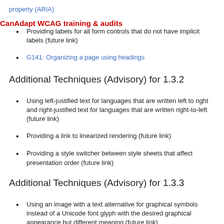property (ARIA)
Providing labels for all form controls that do not have implicit labels (future link)
G141: Organizing a page using headings
Additional Techniques (Advisory) for 1.3.2
Using left-justified text for languages that are written left to right and right-justified text for languages that are written right-to-left (future link)
Providing a link to linearized rendering (future link)
Providing a style switcher between style sheets that affect presentation order (future link)
Additional Techniques (Advisory) for 1.3.3
Using an image with a text alternative for graphical symbols instead of a Unicode font glyph with the desired graphical appearance but different meaning (future link)